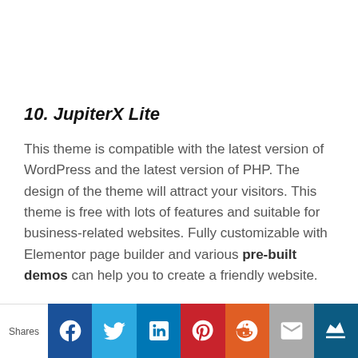10. JupiterX Lite
This theme is compatible with the latest version of WordPress and the latest version of PHP. The design of the theme will attract your visitors. This theme is free with lots of features and suitable for business-related websites. Fully customizable with Elementor page builder and various pre-built demos can help you to create a friendly website.
[Figure (infographic): Social share bar with Shares label and buttons: Facebook, Twitter, LinkedIn, Pinterest, Reddit, Email, Crown/bookmark]